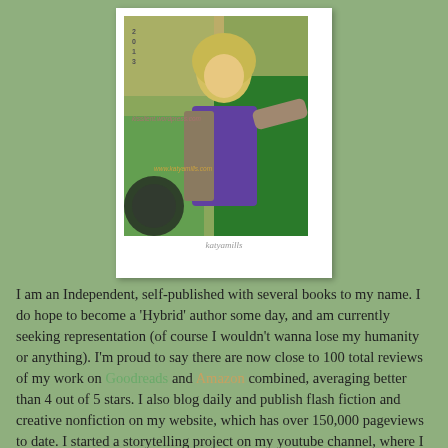[Figure (photo): Polaroid-style photograph of a blonde woman in a purple top, taken in front of green machinery/equipment. Overlaid text reads 'kissilent.wordpress.com' and 'www.katyamills.com'. Year '2013' visible in top left. Caption area below photo is partially legible.]
I am an Independent, self-published with several books to my name. I do hope to become a 'Hybrid' author some day, and am currently seeking representation (of course I wouldn't wanna lose my humanity or anything). I'm proud to say there are now close to 100 total reviews of my work on Goodreads and Amazon combined, averaging better than 4 out of 5 stars. I also blog daily and publish flash fiction and creative nonfiction on my website, which has over 150,000 pageviews to date. I started a storytelling project on my youtube channel, where I read my work and enjoy creating video books, reading and writing have always been close to my heart. I get a lot of my ideas while running along the American River, and ran my first marathon last year. Soon I will be